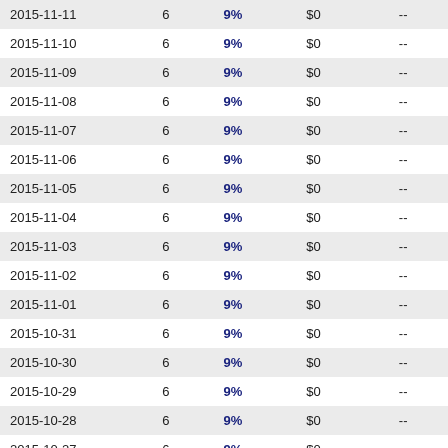| 2015-11-11 | 6 | 9% | $0 | -- |
| 2015-11-10 | 6 | 9% | $0 | -- |
| 2015-11-09 | 6 | 9% | $0 | -- |
| 2015-11-08 | 6 | 9% | $0 | -- |
| 2015-11-07 | 6 | 9% | $0 | -- |
| 2015-11-06 | 6 | 9% | $0 | -- |
| 2015-11-05 | 6 | 9% | $0 | -- |
| 2015-11-04 | 6 | 9% | $0 | -- |
| 2015-11-03 | 6 | 9% | $0 | -- |
| 2015-11-02 | 6 | 9% | $0 | -- |
| 2015-11-01 | 6 | 9% | $0 | -- |
| 2015-10-31 | 6 | 9% | $0 | -- |
| 2015-10-30 | 6 | 9% | $0 | -- |
| 2015-10-29 | 6 | 9% | $0 | -- |
| 2015-10-28 | 6 | 9% | $0 | -- |
| 2015-10-27 | 6 | 9% | $0 | -- |